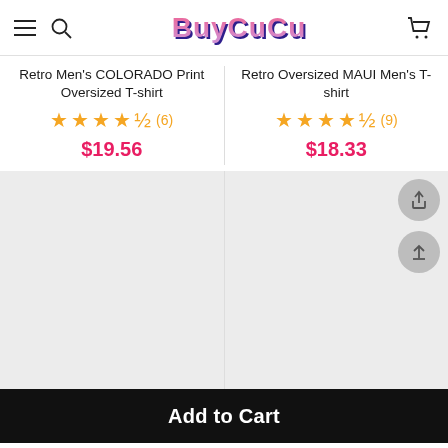BuyCuCu
Retro Men's COLORADO Print Oversized T-shirt
★★★★½ (6)
$19.56
Retro Oversized MAUI Men's T-shirt
★★★★½ (9)
$18.33
[Figure (photo): Product image placeholder (gray rectangle) for Retro Men's COLORADO Print Oversized T-shirt]
[Figure (photo): Product image placeholder (gray rectangle) for Retro Oversized MAUI Men's T-shirt]
Add to Cart